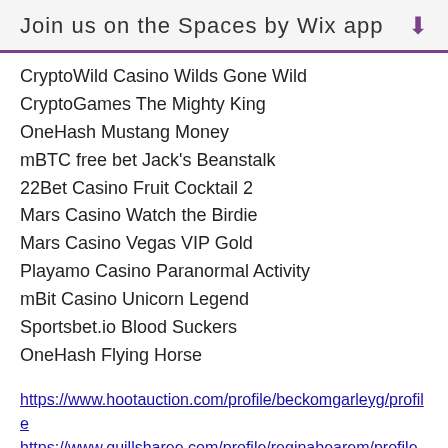Join us on the Spaces by Wix app
CryptoWild Casino Wilds Gone Wild
CryptoGames The Mighty King
OneHash Mustang Money
mBTC free bet Jack's Beanstalk
22Bet Casino Fruit Cocktail 2
Mars Casino Watch the Birdie
Mars Casino Vegas VIP Gold
Playamo Casino Paranormal Activity
mBit Casino Unicorn Legend
Sportsbet.io Blood Suckers
OneHash Flying Horse
https://www.hootauction.com/profile/beckomgarleyg/profile
https://www.quillsharee.com/profile/reginabearem/profile
https://www.buyonlyonline.com/profile/bohmergroenl/profile
https://www.pklawgroup.com/profile/almmantavm/profile